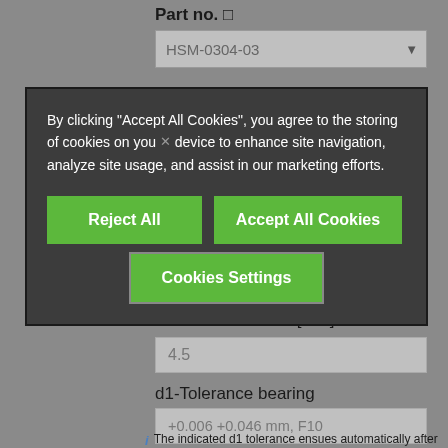Part no.
HSM-0304-03
By clicking "Accept All Cookies", you agree to the storing of cookies on your device to enhance site navigation, analyze site usage, and assist in our marketing efforts.
Reject All
Accept All Cookies
Cookies Settings
Outer diameter d2 [mm]
4.5
d1-Tolerance bearing
+0.006 +0.046 mm, F10
The indicated d1 tolerance ensues automatically after force-fitting Testing methods.